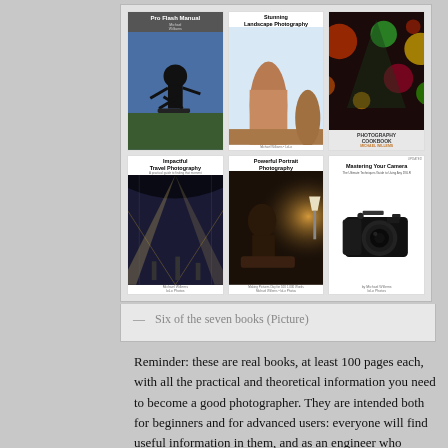[Figure (illustration): Six book covers arranged in a 3x2 grid: Pro Flash Manual, Stunning Landscape Photography, Photography Cookbook (top row); Impactful Travel Photography, Powerful Portrait Photography, Mastering Your Camera (bottom row)]
— Six of the seven books (Picture)
Reminder: these are real books, at least 100 pages each, with all the practical and theoretical information you need to become a good photographer. They are intended both for beginners and for advanced users: everyone will find useful information in them, and as an engineer who thinks that things should be simple, I know how to explain